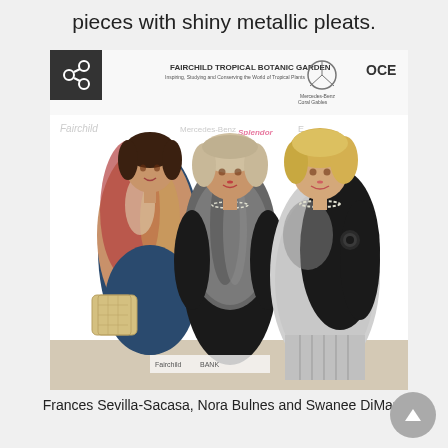pieces with shiny metallic pleats.
[Figure (photo): Three women posing for a photo at an event in front of a step-and-repeat banner showing Fairchild Tropical Botanic Garden and Mercedes-Benz logos. The woman on the left wears a floral jacket, navy dress, and holds a quilted handbag. The woman in the middle wears a black outfit with a fur stole. The woman on the right wears a black and white dress with a black jacket.]
Frances Sevilla-Sacasa, Nora Bulnes and Swanee DiMare